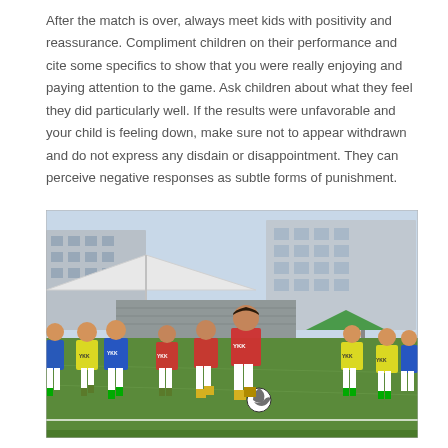After the match is over, always meet kids with positivity and reassurance. Compliment children on their performance and cite some specifics to show that you were really enjoying and paying attention to the game. Ask children about what they feel they did particularly well. If the results were unfavorable and your child is feeling down, make sure not to appear withdrawn and do not express any disdain or disappointment. They can perceive negative responses as subtle forms of punishment.
[Figure (photo): Children playing soccer/football on an outdoor artificial turf field. Kids are wearing yellow, red, and blue vests/pinnies with 'YKK' branding. One child in a red vest is dribbling a soccer ball. Buildings and a white tent canopy are visible in the background.]